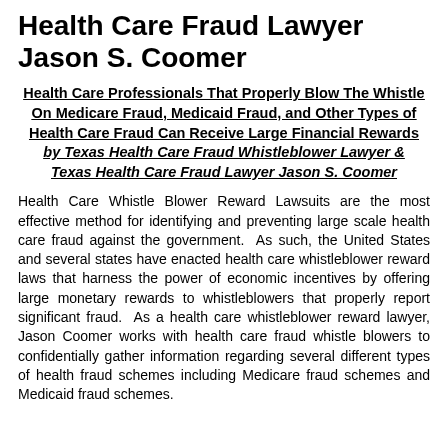Health Care Fraud Lawyer Jason S. Coomer
Health Care Professionals That Properly Blow The Whistle On Medicare Fraud, Medicaid Fraud, and Other Types of Health Care Fraud Can Receive Large Financial Rewards by Texas Health Care Fraud Whistleblower Lawyer & Texas Health Care Fraud Lawyer Jason S. Coomer
Health Care Whistle Blower Reward Lawsuits are the most effective method for identifying and preventing large scale health care fraud against the government. As such, the United States and several states have enacted health care whistleblower reward laws that harness the power of economic incentives by offering large monetary rewards to whistleblowers that properly report significant fraud. As a health care whistleblower reward lawyer, Jason Coomer works with health care fraud whistle blowers to confidentially gather information regarding several different types of health fraud schemes including Medicare fraud schemes and Medicaid fraud schemes.